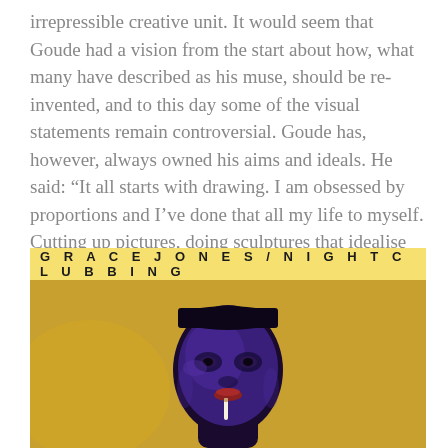irrepressible creative unit. It would seem that Goude had a vision from the start about how, what many have described as his muse, should be re-invented, and to this day some of the visual statements remain controversial. Goude has, however, always owned his aims and ideals. He said: “It all starts with drawing. I am obsessed by proportions and I’ve done that all my life to myself. Cutting up pictures, doing sculptures that idealise people.”
[Figure (photo): Grace Jones Nightclubbing album cover. Gold/amber background with a stylized figure of Grace Jones with deep blue-purple metallic skin tone, flat-top haircut, cigarette in mouth, looking directly at camera. Album title 'GRACE JONES / NIGHTCLUBBING' printed in bold spaced capitals across the top.]